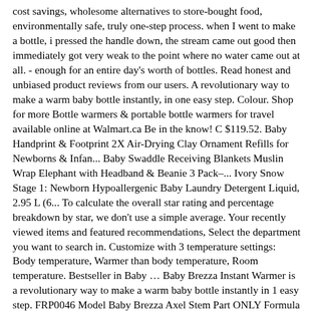cost savings, wholesome alternatives to store-bought food, environmentally safe, truly one-step process. when I went to make a bottle, i pressed the handle down, the stream came out good then immediately got very weak to the point where no water came out at all. - enough for an entire day's worth of bottles. Read honest and unbiased product reviews from our users. A revolutionary way to make a warm baby bottle instantly, in one easy step. Colour. Shop for more Bottle warmers & portable bottle warmers for travel available online at Walmart.ca Be in the know! C $119.52. Baby Handprint & Footprint 2X Air-Drying Clay Ornament Refills for Newborns & Infan... Baby Swaddle Receiving Blankets Muslin Wrap Elephant with Headband & Beanie 3 Pack–... Ivory Snow Stage 1: Newborn Hypoallergenic Baby Laundry Detergent Liquid, 2.95 L (6... To calculate the overall star rating and percentage breakdown by star, we don't use a simple average. Your recently viewed items and featured recommendations, Select the department you want to search in. Customize with 3 temperature settings: Body temperature, Warmer than body temperature, Room temperature. Bestseller in Baby … Baby Brezza Instant Warmer is a revolutionary way to make a warm baby bottle instantly in 1 easy step. FRP0046 Model Baby Brezza Axel Stem Part ONLY Formula Pro Advance. 6-in-1 Baby Carrier With Waist Stool One Size Fits All -Adapt to Newborn, Baby Hip ... Diono Traverze Comfort Cushion, Additional Comfort for Diono Traverze Strollers, Bl... Diono Two2Go Lightweight Strollers, Red and Blue (2-Pack), WaterWipes Sensitive Baby Wipes, 12 Packs of 60 Count (720...